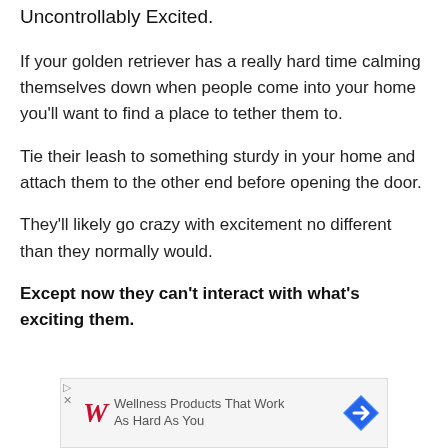Uncontrollably Excited.
If your golden retriever has a really hard time calming themselves down when people come into your home you'll want to find a place to tether them to.
Tie their leash to something sturdy in your home and attach them to the other end before opening the door.
They'll likely go crazy with excitement no different than they normally would.
Except now they can't interact with what's exciting them.
[Figure (other): Walgreens advertisement banner: 'Wellness Products That Work As Hard As You']